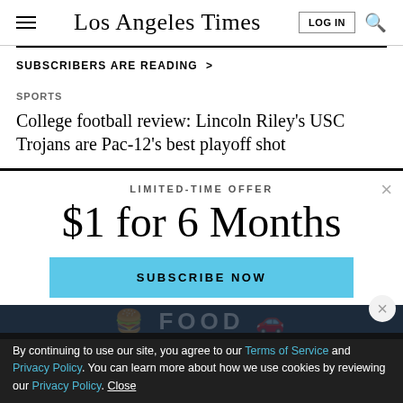Los Angeles Times
SUBSCRIBERS ARE READING >
SPORTS
College football review: Lincoln Riley's USC Trojans are Pac-12's best playoff shot
LIMITED-TIME OFFER
$1 for 6 Months
SUBSCRIBE NOW
By continuing to use our site, you agree to our Terms of Service and Privacy Policy. You can learn more about how we use cookies by reviewing our Privacy Policy. Close